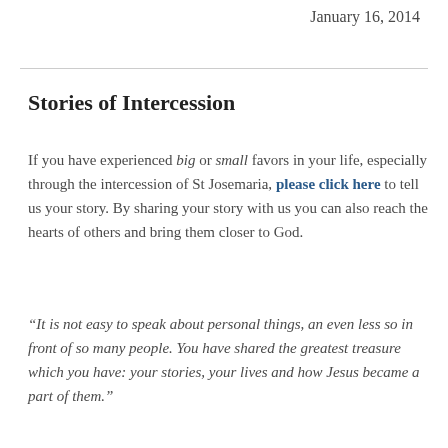January 16, 2014
Stories of Intercession
If you have experienced big or small favors in your life, especially through the intercession of St Josemaria, please click here to tell us your story. By sharing your story with us you can also reach the hearts of others and bring them closer to God.
“It is not easy to speak about personal things, an even less so in front of so many people. You have shared the greatest treasure which you have: your stories, your lives and how Jesus became a part of them.”